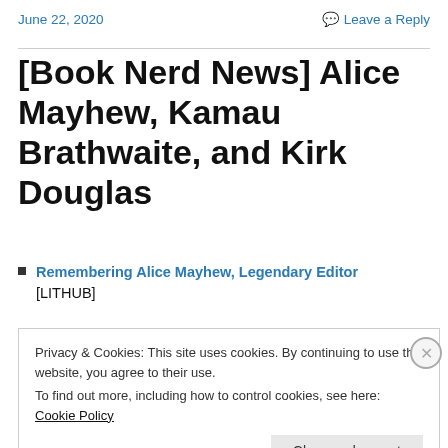June 22, 2020
Leave a Reply
[Book Nerd News] Alice Mayhew, Kamau Brathwaite, and Kirk Douglas
Remembering Alice Mayhew, Legendary Editor [LITHUB]
Privacy & Cookies: This site uses cookies. By continuing to use this website, you agree to their use. To find out more, including how to control cookies, see here: Cookie Policy